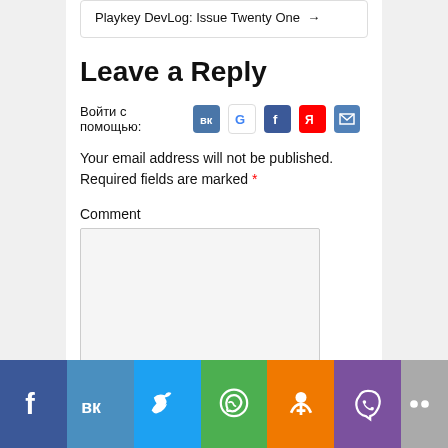Playkey DevLog: Issue Twenty One →
Leave a Reply
Войти с помощью: [VK] [G] [f] [Я] [✉]
Your email address will not be published. Required fields are marked *
Comment
[Figure (screenshot): Comment textarea input box, light gray background]
[Figure (infographic): Social sharing bar at bottom: Facebook, VK, Twitter, WhatsApp, Odnoklassniki, Viber, More]